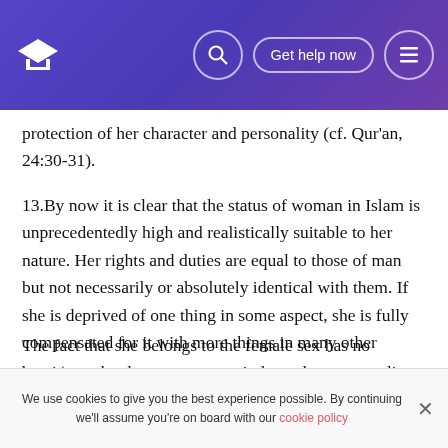Navigation bar with logo, search, Get help now button, and menu icon
protection of her character and personality (cf. Qur'an, 24:30-31).
13.By now it is clear that the status of woman in Islam is unprecedentedly high and realistically suitable to her nature. Her rights and duties are equal to those of man but not necessarily or absolutely identical with them. If she is deprived of one thing in some aspect, she is fully compensated for it with more things in many other aspects.
The fact that she belongs to the female sex has no bearing on her human status or independent personality, and it is no
We use cookies to give you the best experience possible. By continuing we'll assume you're on board with our cookie policy